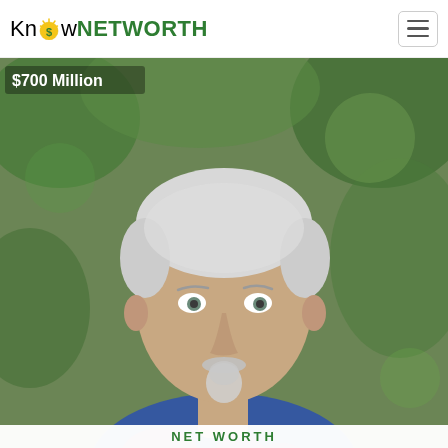Know NETWORTH
[Figure (photo): Portrait photo of an older white-haired man with a goatee wearing a colorful blue and red paisley shirt, with green foliage in the background. Overlay text reads '$700 Million'. Bottom banner shows 'NET WORTH' in green capital letters.]